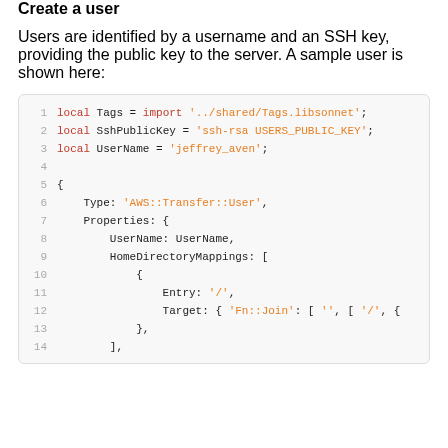Create a user
Users are identified by a username and an SSH key, providing the public key to the server. A sample user is shown here:
[Figure (screenshot): Code block showing a Jsonnet/YAML snippet defining a local Tags import, SshPublicKey, UserName variables and an AWS::Transfer::User resource with Properties including UserName, HomeDirectoryMappings with Entry '/' and Target Fn::Join lines 1-14.]